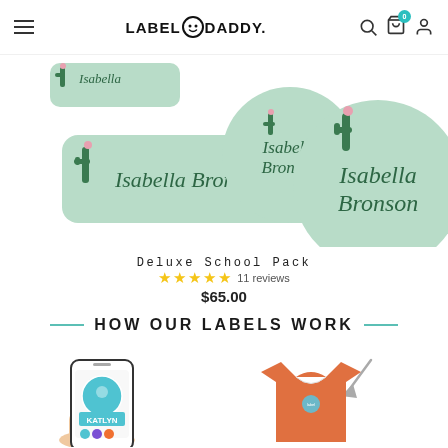Label Daddy - navigation header with logo, search, cart (0), and user icons
[Figure (photo): Product photo showing mint/green name labels with cactus design reading 'Isabella Bronson' in three different label shapes: two rectangular and one large circle, on white background]
Deluxe School Pack
★★★★★ 11 reviews
$65.00
HOW OUR LABELS WORK
[Figure (illustration): Illustration of a hand holding a smartphone displaying a circular label customization app with a blue label reading 'KATLYN' and color swatches below]
[Figure (illustration): Illustration of an orange t-shirt with a small circular label applied to it, with a gray arrow pointing to the label location]